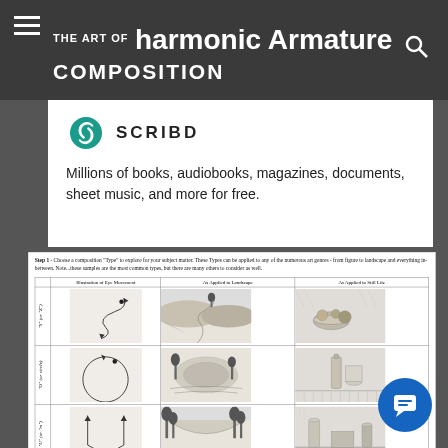THE ART OF harmonic Armature COMPOSITION
[Figure (logo): Scribd logo - teal S icon with SCRIBD text]
Millions of books, audiobooks, magazines, documents, sheet music, and more for free.
[Figure (illustration): Composition types table showing eye movement diagrams, landscape and still life sketches for S/Z, O/circle, and U/m composition types. Step 1 instructions: Choose a composition Type to explore for your subject matter. These Types can be applied to any of the numerous art genres - from figure to landscape and everything in-between. Note...these samples are the most common types, but there are many others to consider as well. Columns: Illustration of Eye Movement, As Applied to Landscape, As Applied to Still Life. Row labels: S (or Z), O (or circle), U (or m).]